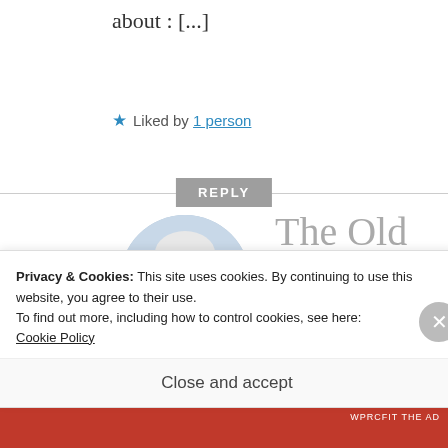about : [...]
★ Liked by 1 person
REPLY
[Figure (photo): Circular avatar photo of a person wearing a bicycle helmet, smiling, outdoors near water. Text on shirt reads 'Adam'.]
The Old American Artist Twitter Excerpt Series, Number III 21 2 – © Felipe
Privacy & Cookies: This site uses cookies. By continuing to use this website, you agree to their use.
To find out more, including how to control cookies, see here:
Cookie Policy
Close and accept